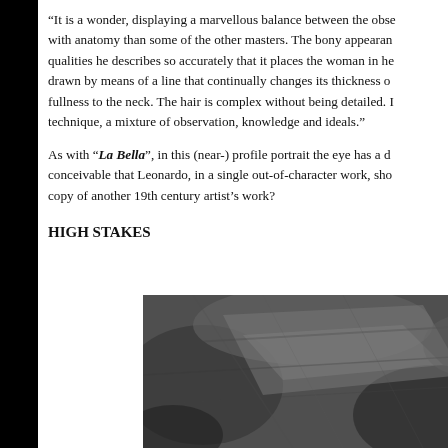“It is a wonder, displaying a marvellous balance between the obs… with anatomy than some of the other masters. The bony appearan… qualities he describes so accurately that it places the woman in he… drawn by means of a line that continually changes its thickness o… fullness to the neck. The hair is complex without being detailed. … technique, a mixture of observation, knowledge and ideals.”
As with “La Bella”, in this (near-) profile portrait the eye has a d… conceivable that Leonardo, in a single out-of-character work, sho… copy of another 19th century artist’s work?
HIGH STAKES
[Figure (photo): Black and white close-up photograph of what appears to be a textured surface, possibly a detail of a painting or drawing showing diagonal strokes and shading]